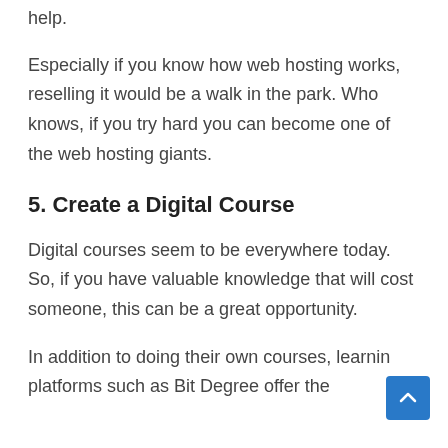help.
Especially if you know how web hosting works, reselling it would be a walk in the park. Who knows, if you try hard you can become one of the web hosting giants.
5. Create a Digital Course
Digital courses seem to be everywhere today. So, if you have valuable knowledge that will cost someone, this can be a great opportunity.
In addition to doing their own courses, learning platforms such as Bit Degree offer the